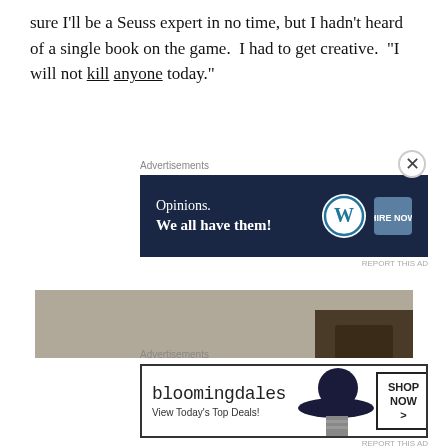sure I'll be a Seuss expert in no time, but I hadn't heard of a single book on the game.  I had to get creative.  "I will not kill anyone today."
Advertisements
[Figure (screenshot): Advertisement banner with dark navy background reading 'Opinions. We all have them!' with WordPress and HireNow logos]
[Figure (photo): Photo of a person wearing a red and white Cat in the Hat style striped hat, bent over a table, with colorful decorations visible in background]
Advertisements
[Figure (screenshot): Bloomingdales advertisement: 'bloomingdales / View Today's Top Deals!' with woman in hat image and 'SHOP NOW >' button]